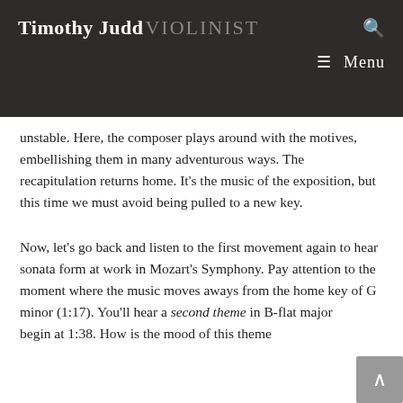Timothy Judd VIOLINIST
unstable. Here, the composer plays around with the motives, embellishing them in many adventurous ways. The recapitulation returns home. It’s the music of the exposition, but this time we must avoid being pulled to a new key.
Now, let’s go back and listen to the first movement again to hear sonata form at work in Mozart’s Symphony. Pay attention to the moment where the music moves aways from the home key of G minor (1:17). You’ll hear a second theme in B-flat major begin at 1:38. How is the mood of this theme